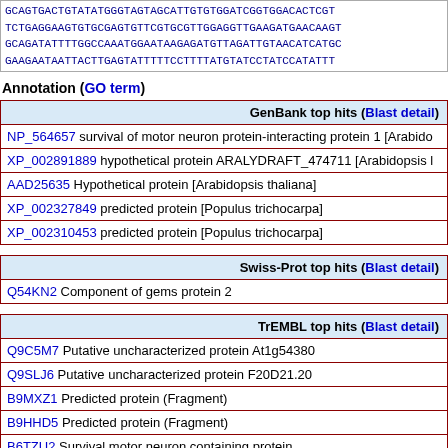GCAGTGACTGTATATGGGTAGT AGCATTGTGTGGATCGGTGGACACTCG TCTGAGGAAGTGTGCGAGTGTTCGTGCGTTGGAGGTTGAAGATGAACAAGT GCAGATATTTTGGCCAAATGGAATAAGAGATGTTAGATTGTAACATCATGC GAAGAATAATTACTTGAGTATTTTTCCTTTTATGTATCCTATCCATATT
Annotation (GO term)
| GenBank top hits (Blast detail) |
| --- |
| NP_564657 survival of motor neuron protein-interacting protein 1 [Arabido |
| XP_002891889 hypothetical protein ARALYDRAFT_474711 [Arabidopsis l |
| AAD25635 Hypothetical protein [Arabidopsis thaliana] |
| XP_002327849 predicted protein [Populus trichocarpa] |
| XP_002310453 predicted protein [Populus trichocarpa] |
| Swiss-Prot top hits (Blast detail) |
| --- |
| Q54KN2 Component of gems protein 2 |
| TrEMBL top hits (Blast detail) |
| --- |
| Q9C5M7 Putative uncharacterized protein At1g54380 |
| Q9SLJ6 Putative uncharacterized protein F20D21.20 |
| B9MXZ1 Predicted protein (Fragment) |
| B9HHD5 Predicted protein (Fragment) |
| B6TZU2 Survival motor neuron containing protein |